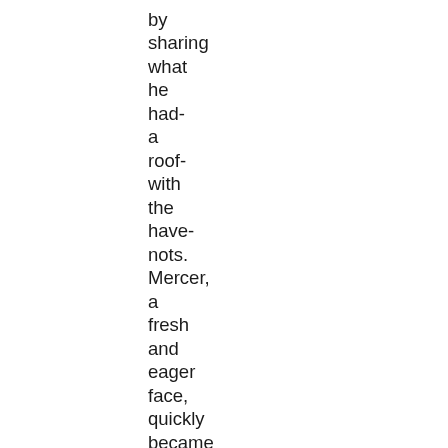by
sharing
what
he
had-
a
roof-
with
the
have-
nots.
Mercer,
a
fresh
and
eager
face,
quickly
became
the
old
man's
confidante.